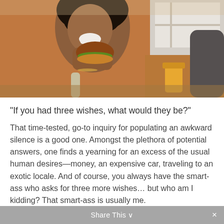[Figure (photo): Young Black woman laughing and eating a burger, with another person partially visible on the right, indoor setting with natural light]
"If you had three wishes, what would they be?"
That time-tested, go-to inquiry for populating an awkward silence is a good one. Amongst the plethora of potential answers, one finds a yearning for an excess of the usual human desires—money, an expensive car, traveling to an exotic locale. And of course, you always have the smart-ass who asks for three more wishes… but who am I kidding? That smart-ass is usually me.
Share This ×